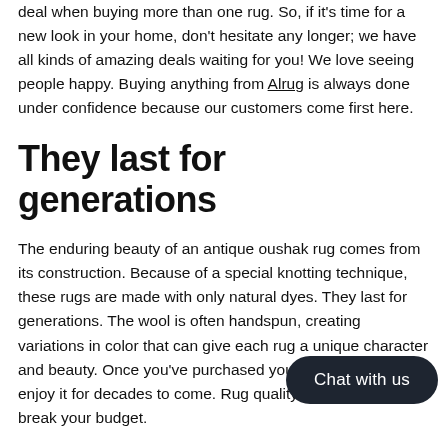deal when buying more than one rug. So, if it's time for a new look in your home, don't hesitate any longer; we have all kinds of amazing deals waiting for you! We love seeing people happy. Buying anything from Alrug is always done under confidence because our customers come first here.
They last for generations
The enduring beauty of an antique oushak rug comes from its construction. Because of a special knotting technique, these rugs are made with only natural dyes. They last for generations. The wool is often handspun, creating variations in color that can give each rug a unique character and beauty. Once you've purchased your Oushak rug, you'll enjoy it for decades to come. Rug quality doesn't have to break your budget.
Another reason why people love these beautiful rugs is their affordability. While some people believe that buying quality means spending more money, we know better. We believe that it is to purchase based on both quality and price point, and our gorgeous collection makes sure you get both at once! Every oushak